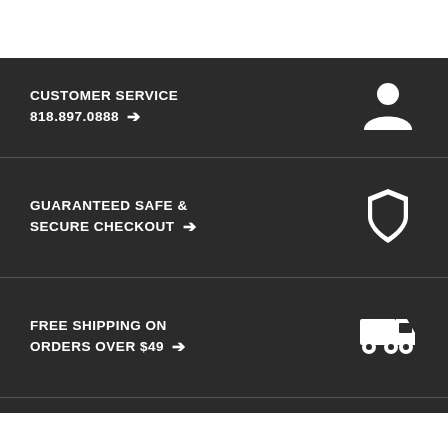CUSTOMER SERVICE
818.897.0888 →
GUARANTEED SAFE & SECURE CHECKOUT →
FREE SHIPPING ON ORDERS OVER $49 →
FREE RETURNS →